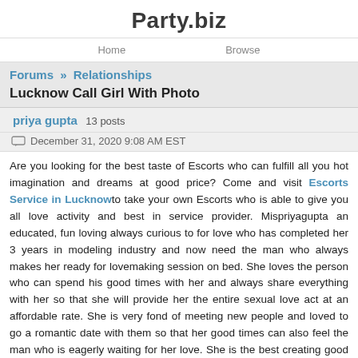Party.biz
Home   Browse
Forums » Relationships
Lucknow Call Girl With Photo
priya gupta  13 posts
December 31, 2020 9:08 AM EST
Are you looking for the best taste of Escorts who can fulfill all you hot imagination and dreams at good price? Come and visit Escorts Service in Lucknow to take your own Escorts who is able to give you all love activity and best in service provider. Mispriyagupta an educated, fun loving always curious to for love who has completed her 3 years in modeling industry and now need the man who always makes her ready for lovemaking session on bed. She loves the person who can spend his good times with her and always share everything with her so that she will provide her the entire sexual love act at an affordable rate. She is very fond of meeting new people and loved to go a romantic date with them so that her good times can also feel the man who is eagerly waiting for her love. She is the best creating good environment and has the ability to show immense love so that without any shy the clients can bring change in his life with full of freedoms and joy. So if you want all such fun in your life to make your day and life with full of happiness than come here to meet your